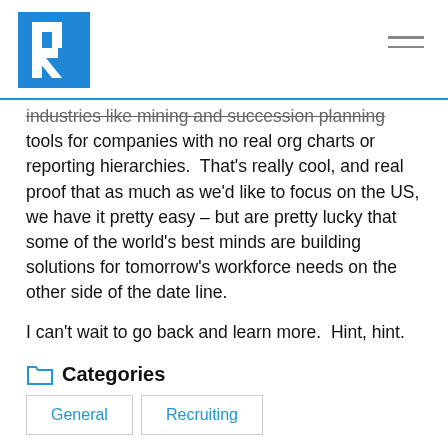R [logo]
industries like mining and succession planning tools for companies with no real org charts or reporting hierarchies.  That's really cool, and real proof that as much as we'd like to focus on the US, we have it pretty easy – but are pretty lucky that some of the world's best minds are building solutions for tomorrow's workforce needs on the other side of the date line.
I can't wait to go back and learn more.  Hint, hint.
Categories
General
Recruiting
Tags
HR Technology
Recruiting
Recruiting Industry